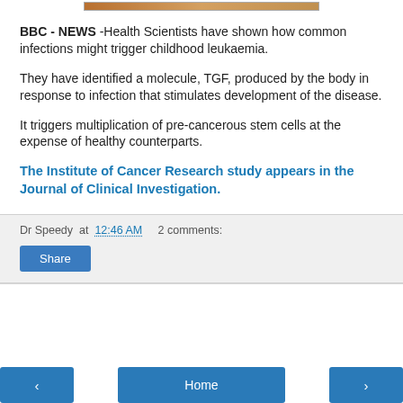[Figure (photo): Small image strip at top of page]
BBC - NEWS -Health Scientists have shown how common infections might trigger childhood leukaemia.
They have identified a molecule, TGF, produced by the body in response to infection that stimulates development of the disease.
It triggers multiplication of pre-cancerous stem cells at the expense of healthy counterparts.
The Institute of Cancer Research study appears in the Journal of Clinical Investigation.
Dr Speedy at 12:46 AM   2 comments:
Share
< | Home | >